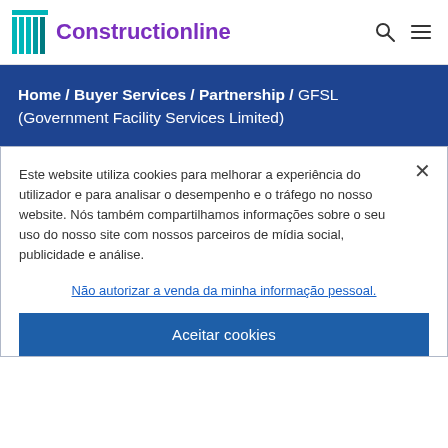Constructionline
Home / Buyer Services / Partnership / GFSL (Government Facility Services Limited)
Este website utiliza cookies para melhorar a experiência do utilizador e para analisar o desempenho e o tráfego no nosso website. Nós também compartilhamos informações sobre o seu uso do nosso site com nossos parceiros de mídia social, publicidade e análise.
Não autorizar a venda da minha informação pessoal.
Aceitar cookies